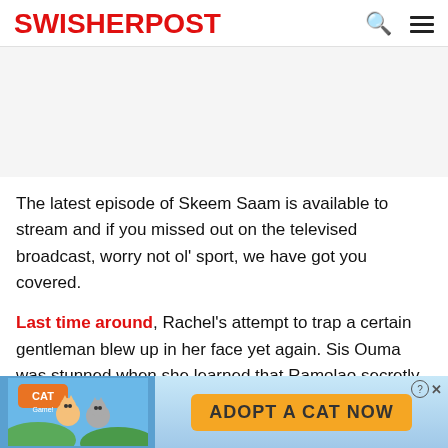SWISHERPOST
The latest episode of Skeem Saam is available to stream and if you missed out on the televised broadcast, worry not ol' sport, we have got you covered.
Last time around, Rachel's attempt to trap a certain gentleman blew up in her face yet again. Sis Ouma was stunned when she learned that Ramolao secretly paid for a certain troublesome boy's trip to Joburg. Francois was wary of an offer made by his former employers.
[Figure (screenshot): Bottom advertisement banner: Cat Game app ad with 'ADOPT A CAT NOW' button]